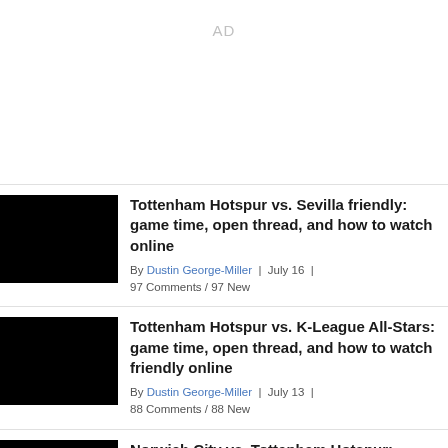AD
Tottenham Hotspur vs. Sevilla friendly: game time, open thread, and how to watch online
By Dustin George-Miller | July 16 | 97 Comments / 97 New
Tottenham Hotspur vs. K-League All-Stars: game time, open thread, and how to watch friendly online
By Dustin George-Miller | July 13 | 88 Comments / 88 New
Norwich City vs. Tottenham Hotspur: